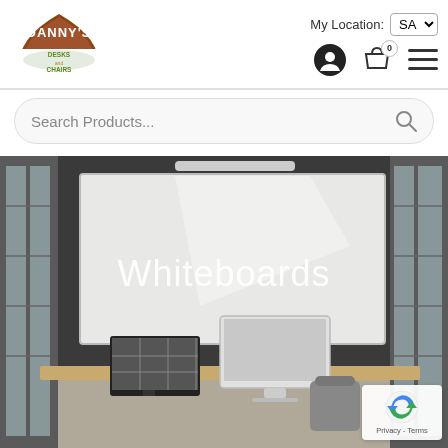Danny's Desks and Chairs — My Location: SA
Search Products...
[Figure (photo): Hero image of an office room with a large whiteboard mounted on a dark wall, tall windows on either side, and a desk with monitors in the foreground. White text overlay reads 'Whiteboards'.]
Whiteboards